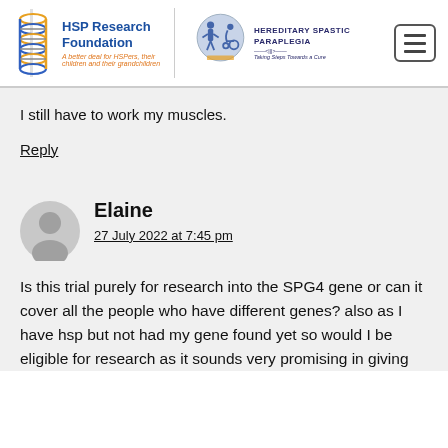HSP Research Foundation — A better deal for HSPers, their children and their grandchildren | Hereditary Spastic Paraplegia — Taking Steps Towards a Cure
I still have to work my muscles.
Reply
Elaine
27 July 2022 at 7:45 pm
Is this trial purely for research into the SPG4 gene or can it cover all the people who have different genes? also as I have hsp but not had my gene found yet so would I be eligible for research as it sounds very promising in giving